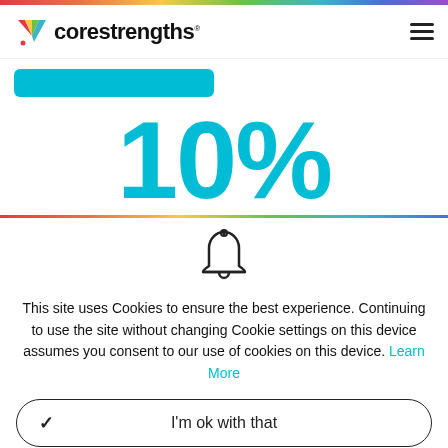[Figure (logo): Core Strengths logo with colorful chevron/arrow mark and text 'corestrengths']
10%
[Figure (illustration): Bell notification icon (outline style)]
This site uses Cookies to ensure the best experience. Continuing to use the site without changing Cookie settings on this device assumes you consent to our use of cookies on this device. Learn More
I'm ok with that